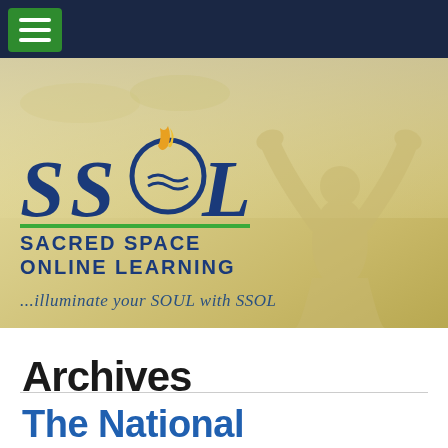[Figure (screenshot): Website header with dark navy navigation bar containing a green hamburger menu button, and a hero banner with warm golden/yellow background showing the SSOL (Sacred Space Online Learning) logo with flame icon, the text 'SACRED SPACE ONLINE LEARNING' in dark blue with green underline bar, and tagline '...illuminate your SOUL with SSOL' in italic blue text. A silhouette of a person with arms raised is visible in the background.]
Archives
The National